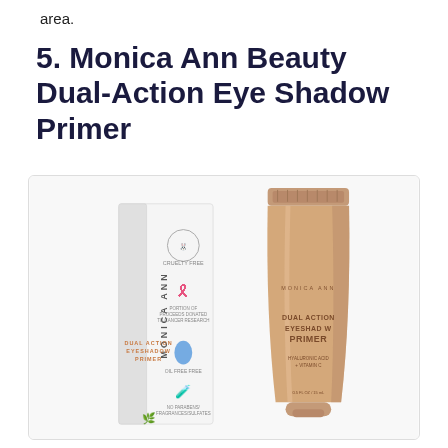area.
5. Monica Ann Beauty Dual-Action Eye Shadow Primer
[Figure (photo): Product photo of Monica Ann Beauty Dual-Action Eye Shadow Primer showing the box packaging and the rose gold tube, displayed side by side on a white background.]